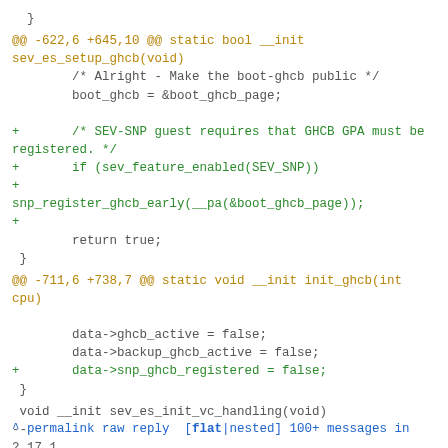}
@@ -622,6 +645,10 @@ static bool __init sev_es_setup_ghcb(void)
        /* Alright - Make the boot-ghcb public */
        boot_ghcb = &boot_ghcb_page;

+       /* SEV-SNP guest requires that GHCB GPA must be registered. */
+       if (sev_feature_enabled(SEV_SNP))
+
snp_register_ghcb_early(__pa(&boot_ghcb_page));
+
        return true;
 }
@@ -711,6 +738,7 @@ static void __init init_ghcb(int cpu)

        data->ghcb_active = false;
        data->backup_ghcb_active = false;
+       data->snp_ghcb_registered = false;
 }
void __init sev_es_init_vc_handling(void)
--
2.17.1
^ permalink raw reply  [flat|nested] 100+ messages in